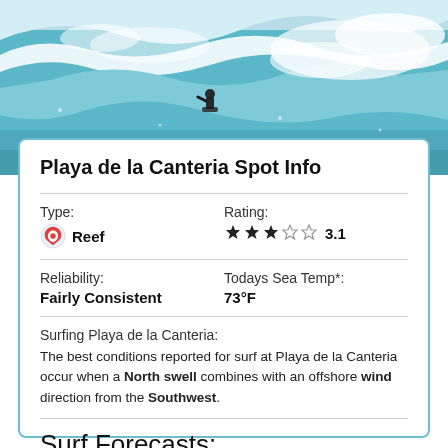[Figure (photo): Aerial/close-up photo of a surfer riding a large turquoise wave with white foam spray]
Playa de la Canteria Spot Info
Type: Rating:
Reef  ★★★☆☆ 3.1
Reliability: Todays Sea Temp*:
Fairly Consistent  73°F
Surfing Playa de la Canteria:
The best conditions reported for surf at Playa de la Canteria occur when a North swell combines with an offshore wind direction from the Southwest.
Surf Forecasts: